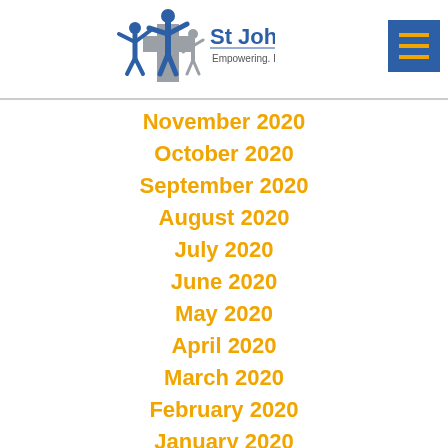St John's Lutheran — Empowering. Enlightening. Enriching.
November 2020
October 2020
September 2020
August 2020
July 2020
June 2020
May 2020
April 2020
March 2020
February 2020
January 2020